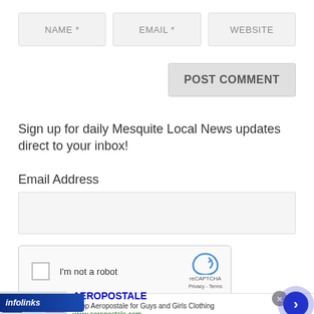[Figure (screenshot): Web form fields: NAME *, EMAIL *, WEBSITE input boxes]
[Figure (screenshot): POST COMMENT button]
Sign up for daily Mesquite Local News updates direct to your inbox!
Email Address
[Figure (screenshot): Email address input box]
[Figure (screenshot): reCAPTCHA widget: checkbox 'I'm not a robot' with reCAPTCHA logo]
[Figure (screenshot): Infolinks ad banner showing AEROPOSTALE advertisement]
AEROPOSTALE
Shop Aeropostale for Guys and Girls Clothing
www.aeropostale.com